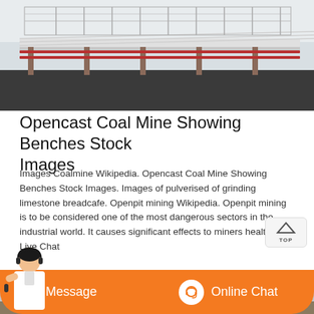[Figure (photo): Industrial conveyor belt at an opencast coal mine, showing metal frame structures with white cable lines against a light background.]
Opencast Coal Mine Showing Benches Stock Images
Images Coalmine Wikipedia. Opencast Coal Mine Showing Benches Stock Images. Images of pulverised of grinding limestone breadcafe. Openpit mining Wikipedia. Openpit mining is to be considered one of the most dangerous sectors in the industrial world. It causes significant effects to miners health as. Live Chat
[Figure (photo): Large industrial mining truck or hopper structure viewed from below, with a metal framework railing on top. A chat support person (woman with headset) is overlaid in the bottom-left corner.]